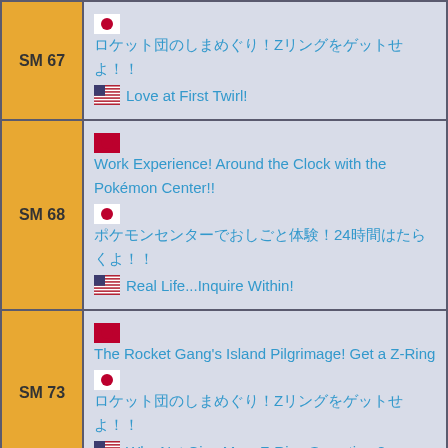| Episode | Titles |
| --- | --- |
| SM 67 | 🇯🇵 ロケット団のしまめぐり！Zリングをゲットせよ！！
🇺🇸 Love at First Twirl! |
| SM 68 | 🇯🇵 Work Experience! Around the Clock with the Pokémon Center!!
🇯🇵 ポケモンセンターでおしごと体験！24時間はたらくよ！！
🇺🇸 Real Life...Inquire Within! |
| SM 73 | 🇯🇵 The Rocket Gang's Island Pilgrimage! Get a Z-Ring
🇯🇵 ロケット団のしまめぐり！Zリングをゲットせよ！！
🇺🇸 Why Not Give Me a Z-Ring Sometime? |
| SM 74 | 🇯🇵 This Tough Old Geezer's the Island King?!
🇯🇵 このいかついおじさんがしまキング？！
🇺🇸 Tough Guy Trials! |
| SM 86 | 🇯🇵 I Choose Here! The Pokémon Steam Paradise!!
🇯🇵 ここにきめた！ポケモンゆけむり温泉ランド！！
🇺🇸 I Choose Paradise! |